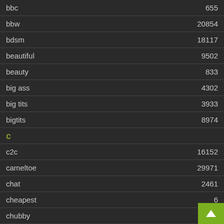| Tag | Count |
| --- | --- |
| bbc | 655 |
| bbw | 20854 |
| bdsm | 18117 |
| beautiful | 9502 |
| beauty | 833 |
| big ass | 4302 |
| big tits | 3933 |
| bigtits | 8974 |
| c |  |
| c2c | 16152 |
| cameltoe | 29971 |
| chat | 2461 |
| cheapest | 6 |
| chubby | 2499 |
| clit |  |